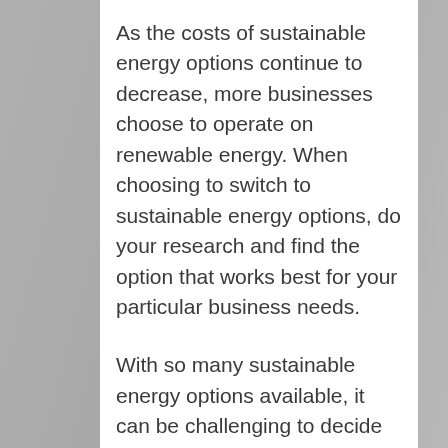As the costs of sustainable energy options continue to decrease, more businesses choose to operate on renewable energy. When choosing to switch to sustainable energy options, do your research and find the option that works best for your particular business needs.
With so many sustainable energy options available, it can be challenging to decide which one is best for your company. The good news is that there are a few general guidelines that businesses of all sizes can follow to make the most of sustainable energy options for their company.